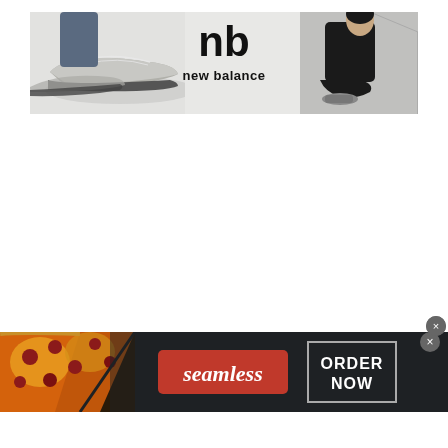[Figure (photo): New Balance advertisement banner showing sneakers on the left, New Balance logo and brand name in the center, and a person sitting against a wall wearing New Balance shoes on the right. Light gray background.]
[Figure (photo): Seamless food delivery advertisement banner on dark background, showing pizza on the left, Seamless logo in red in the center, and ORDER NOW text in a white-bordered box on the right. A close button (x) appears at top right.]